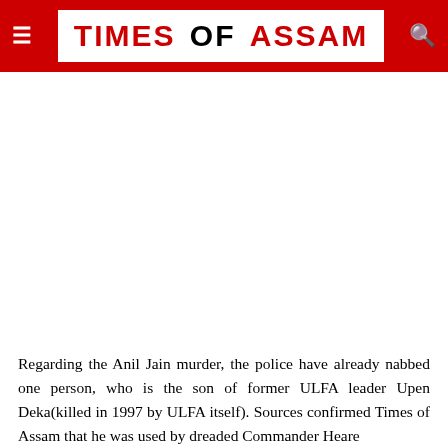TIMES OF ASSAM
Regarding the Anil Jain murder, the police have already nabbed one person, who is the son of former ULFA leader Upen Deka(killed in 1997 by ULFA itself). Sources confirmed Times of Assam that he was used by dreaded Commander Heare